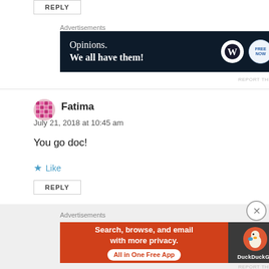[Figure (other): REPLY button at top]
Advertisements
[Figure (other): WordPress/blog advertisement banner: Opinions. We all have them!]
REPORT THIS AD
[Figure (other): Comment avatar for Fatima (decorative mosaic icon)]
Fatima
July 21, 2018 at 10:45 am
You go doc!
Like
[Figure (other): REPLY button]
Advertisements
[Figure (other): DuckDuckGo advertisement: Search, browse, and email with more privacy. All in One Free App]